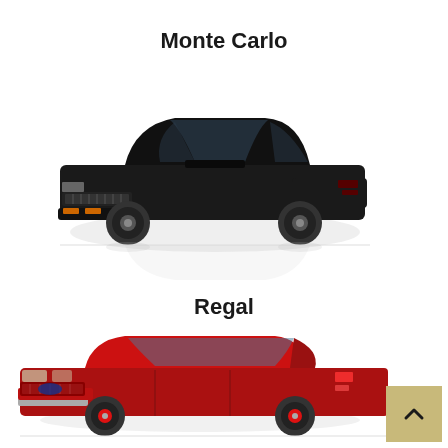Monte Carlo
[Figure (photo): Black classic American muscle car (Monte Carlo / Buick Grand National style) with reflection on white background]
Regal
[Figure (photo): Red classic American muscle car (Camaro style) partially visible, on white background]
[Figure (other): Tan/gold back-to-top navigation button with upward chevron arrow]